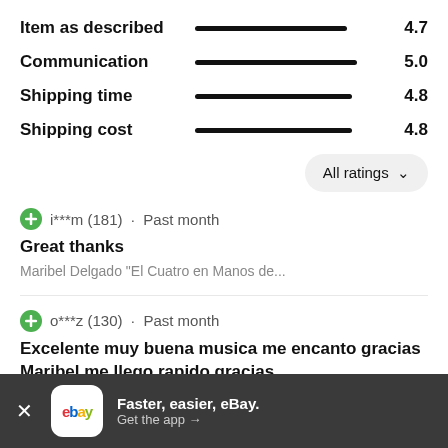[Figure (infographic): Ratings breakdown with bar indicators for four categories: Item as described (4.7), Communication (5.0), Shipping time (4.8), Shipping cost (4.8)]
All ratings ∨
i***m (181) · Past month
Great thanks
Maribel Delgado "El Cuatro en Manos de...
o***z (130) · Past month
Excelente muy buena musica me encanto gracias Maribel me llego rapido gracias
Maribel Delgado "El Cuatro en Manos de...
r***z (548) · Past month
Faster, easier, eBay. Get the app →